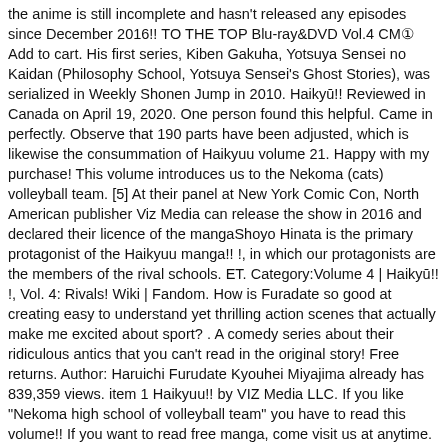the anime is still incomplete and hasn't released any episodes since December 2016!! TO THE TOP Blu-ray&DVD Vol.4 CM① Add to cart. His first series, Kiben Gakuha, Yotsuya Sensei no Kaidan (Philosophy School, Yotsuya Sensei's Ghost Stories), was serialized in Weekly Shonen Jump in 2010. Haikyū!! Reviewed in Canada on April 19, 2020. One person found this helpful. Came in perfectly. Observe that 190 parts have been adjusted, which is likewise the consummation of Haikyuu volume 21. Happy with my purchase! This volume introduces us to the Nekoma (cats) volleyball team. [5] At their panel at New York Comic Con, North American publisher Viz Media can release the show in 2016 and declared their licence of the mangaShoyo Hinata is the primary protagonist of the Haikyuu manga!! !, in which our protagonists are the members of the rival schools. ET. Category:Volume 4 | Haikyū!! !, Vol. 4: Rivals! Wiki | Fandom. How is Furadate so good at creating easy to understand yet thrilling action scenes that actually make me excited about sport? . A comedy series about their ridiculous antics that you can't read in the original story! Free returns. Author: Haruichi Furudate Kyouhei Miyajima already has 839,359 views. item 1 Haikyuu!! by VIZ Media LLC. If you like "Nekoma high school of volleyball team" you have to read this volume!! If you want to read free manga, come visit us at anytime. Haikyu! Reviewed in the United Kingdom on February 14, 2018. 9784088705552. I have a new found love for Suga after this volume. The item you've selected was not added to your cart. Vol.4 Chapter 43: Impress Yachi'S Mom summary. If you want to read free